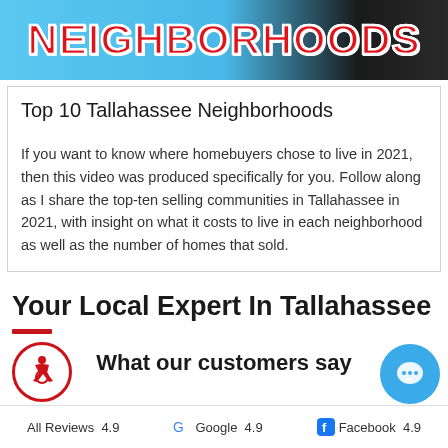[Figure (illustration): Banner image with large bold red text reading NEIGHBORHOODS on a blue sky background with dark silhouette]
Top 10 Tallahassee Neighborhoods
If you want to know where homebuyers chose to live in 2021, then this video was produced specifically for you. Follow along as I share the top-ten selling communities in Tallahassee in 2021, with insight on what it costs to live in each neighborhood as well as the number of homes that sold.
Your Local Expert In Tallahassee
What our customers say
All Reviews  4.9    Google  4.9    Facebook  4.9